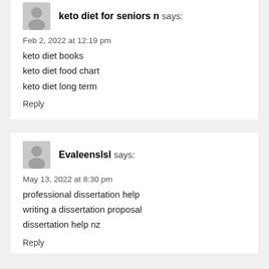keto diet for seniors n says:
Feb 2, 2022 at 12:19 pm
keto diet books
keto diet food chart
keto diet long term
Reply
EvaleenslsI says:
May 13, 2022 at 8:30 pm
professional dissertation help
writing a dissertation proposal
dissertation help nz
Reply